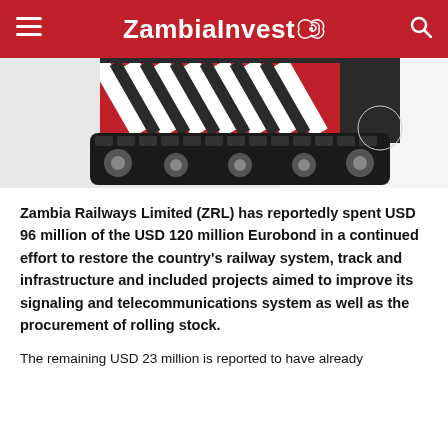ZambiaInvest
[Figure (photo): Close-up photograph of railway train tracks and wheels, showing a rail vehicle with red and white diagonal striping on its side and heavy metal track/caterpillar mechanism at the bottom.]
Zambia Railways Limited (ZRL) has reportedly spent USD 96 million of the USD 120 million Eurobond in a continued effort to restore the country's railway system, track and infrastructure and included projects aimed to improve its signaling and telecommunications system as well as the procurement of rolling stock.
The remaining USD 23 million is reported to have already